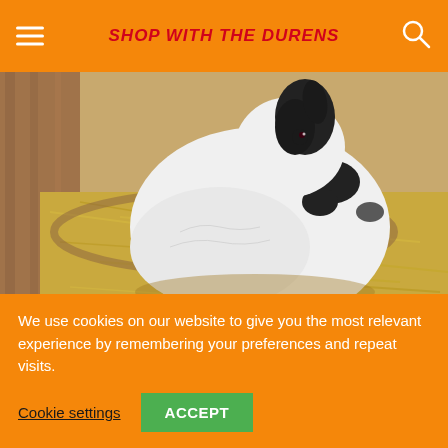SHOP WITH THE DURENS
[Figure (photo): A white and black spotted rabbit sitting on straw/hay inside a wooden enclosure]
Image Credit: NewWorldPics, Pixabay
Rabbits are susceptible to a variety of bacterial and viral diseases. Maintenance is an excellent way to
We use cookies on our website to give you the most relevant experience by remembering your preferences and repeat visits.
Cookie settings   ACCEPT